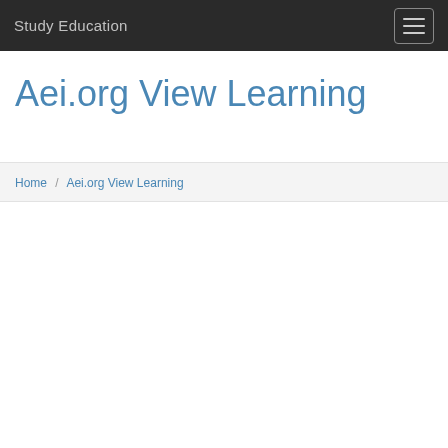Study Education
Aei.org View Learning
Home / Aei.org View Learning